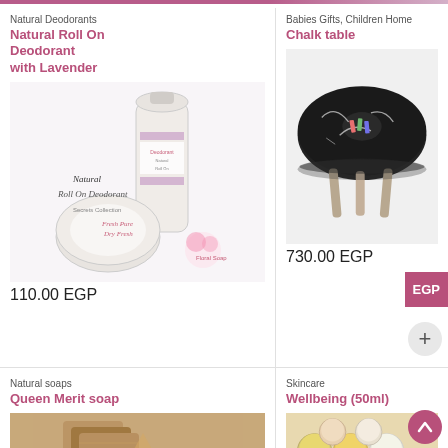[Figure (photo): Natural Roll On Deodorant with Lavender product photo showing deodorant bottles and a round container]
Natural Deodorants
Natural Roll On Deodorant with Lavender
110.00 EGP
[Figure (photo): Chalk table - a round black table top on wooden legs with chalk drawings]
Babies Gifts, Children Home
Chalk table
730.00 EGP
[Figure (photo): Queen Merit soap - natural soap bars]
Natural soaps
Queen Merit soap
[Figure (photo): Wellbeing 50ml skincare product - multiple small tin containers with creams]
Skincare
Wellbeing (50ml)